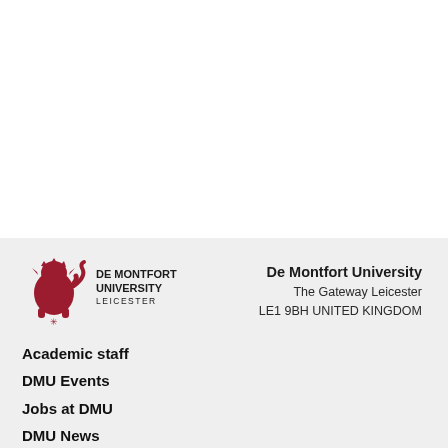[Figure (logo): De Montfort University Leicester logo — red lion crest with text DE MONTFORT UNIVERSITY LEICESTER]
De Montfort University
The Gateway  Leicester
LE1 9BH  UNITED KINGDOM
Academic staff
DMU Events
Jobs at DMU
DMU News